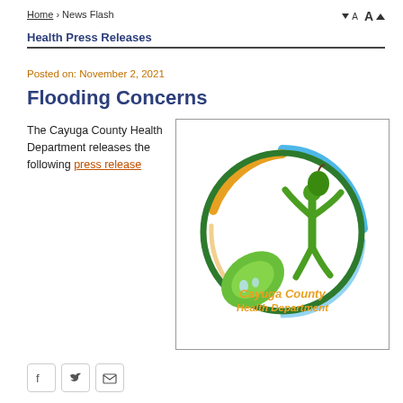Home › News Flash
Health Press Releases
Posted on: November 2, 2021
Flooding Concerns
The Cayuga County Health Department releases the following press release
[Figure (logo): Cayuga County Health Department logo showing a circular design with a green figure, apple, leaf, and water droplets with the department name in orange text]